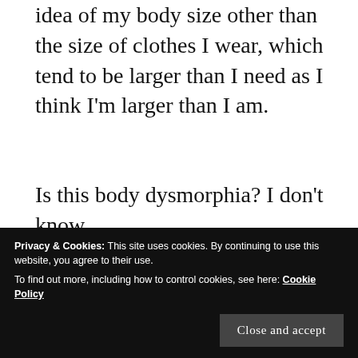idea of my body size other than the size of clothes I wear, which tend to be larger than I need as I think I'm larger than I am.
Is this body dysmorphia? I don't know.
So, when a cafe or shop is busy I tend to walk away fearing there'll be nowhere I can fit into, as well as me being overwhelmed in crowds and crowded places.
barriers I need to overcome in order to finally
Privacy & Cookies: This site uses cookies. By continuing to use this website, you agree to their use.
To find out more, including how to control cookies, see here: Cookie Policy
Close and accept